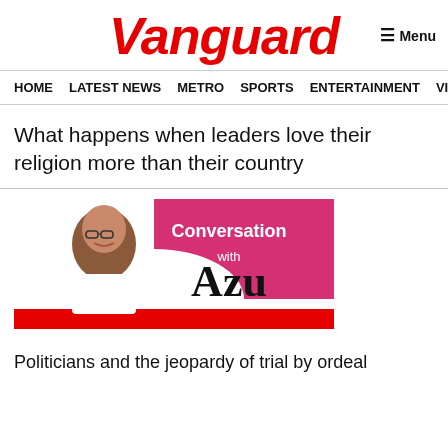Vanguard
HOME  LATEST NEWS  METRO  SPORTS  ENTERTAINMENT  VIDEOS
What happens when leaders love their religion more than their country
[Figure (illustration): Conversation with Azu column banner featuring a smiling man with glasses on the left, pink/red background with 'Conversation' text in white, and 'Azu' in large black serif font with 'with' above it, red decorative stripe at bottom.]
Politicians and the jeopardy of trial by ordeal